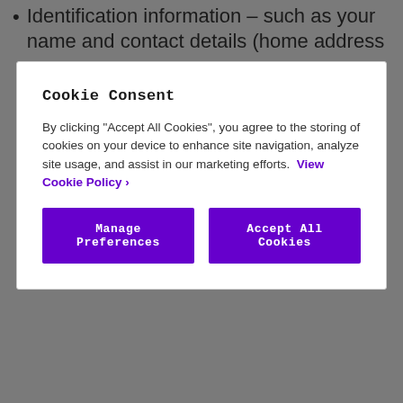Identification information – such as your name and contact details (home address
[Figure (screenshot): Cookie Consent modal overlay with title 'Cookie Consent', body text about accepting cookies, a 'View Cookie Policy >' link, and two purple buttons: 'Manage Preferences' and 'Accept All Cookies']
information you give to us when you ask us for any help and support through our contact form – see https://discountsforteachers.zendesk.com/hc/gb/requests/new
Communication preferences – such as whether you want to receive emails or not
Accounting data – relating to the running of